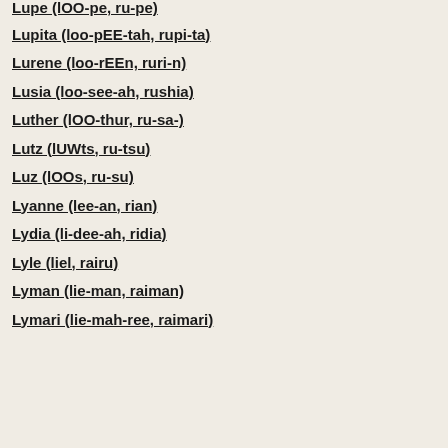Lupe (lOO-pe, ru-pe)
Lupita (loo-pEE-tah, rupi-ta)
Lurene (loo-rEEn, ruri-n)
Lusia (loo-see-ah, rushia)
Luther (lOO-thur, ru-sa-)
Lutz (lUWts, ru-tsu)
Luz (lOOs, ru-su)
Lyanne (lee-an, rian)
Lydia (li-dee-ah, ridia)
Lyle (liel, rairu)
Lyman (lie-man, raiman)
Lymari (lie-mah-ree, raimari)